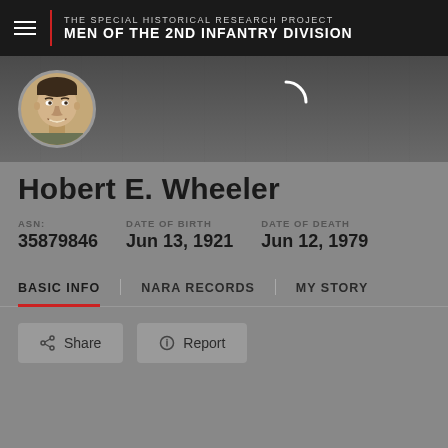THE SPECIAL HISTORICAL RESEARCH PROJECT MEN OF THE 2nd INFANTRY DIVISION
[Figure (photo): Circular avatar portrait photo of Hobert E. Wheeler in military uniform, smiling]
Hobert E. Wheeler
ASN: 35879846  DATE OF BIRTH: Jun 13, 1921  DATE OF DEATH: Jun 12, 1979
BASIC INFO  |  NARA RECORDS  |  MY STORY
Share  Report